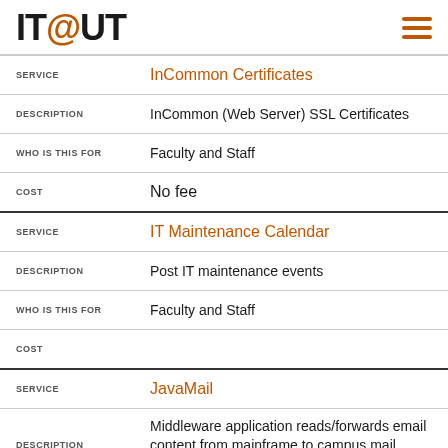IT@UT
| Field | Value |
| --- | --- |
| SERVICE | InCommon Certificates |
| DESCRIPTION | InCommon (Web Server) SSL Certificates |
| WHO IS THIS FOR | Faculty and Staff |
| COST | No fee |
| Field | Value |
| --- | --- |
| SERVICE | IT Maintenance Calendar |
| DESCRIPTION | Post IT maintenance events |
| WHO IS THIS FOR | Faculty and Staff |
| COST |  |
| Field | Value |
| --- | --- |
| SERVICE | JavaMail |
| DESCRIPTION | Middleware application reads/forwards email content from mainframe to campus mail servers |